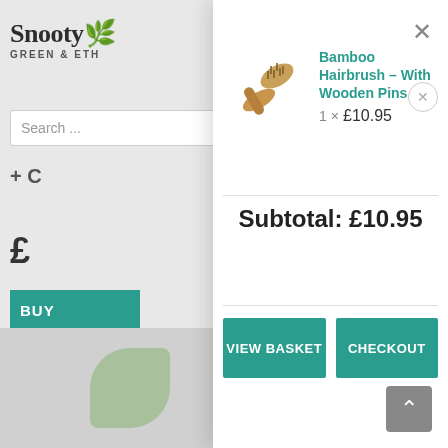[Figure (screenshot): SnootypCat green & ethical website background with logo, search bar, price, buy button, and product image partially visible on the left side]
[Figure (screenshot): Shopping cart modal popup showing Bamboo Hairbrush product with image, title, price 1x £10.95, subtotal £10.95, and two buttons: VIEW BASKET and CHECKOUT]